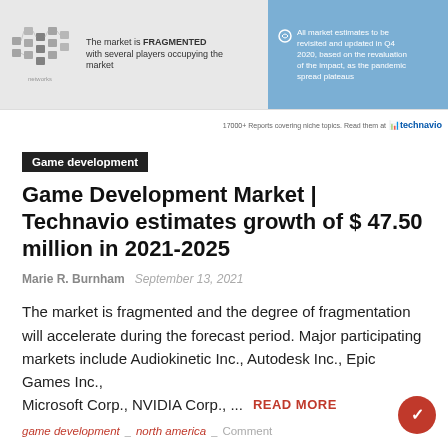[Figure (infographic): Market fragmentation banner with network/node icon on left and blue panel on right about market estimates being revised in Q4 2020 due to pandemic spread plateau. Technavio branding at bottom right.]
Game development
Game Development Market | Technavio estimates growth of $ 47.50 million in 2021-2025
Marie R. Burnham   September 13, 2021
The market is fragmented and the degree of fragmentation will accelerate during the forecast period. Major participating markets include Audiokinetic Inc., Autodesk Inc., Epic Games Inc.,
Microsoft Corp., NVIDIA Corp., ...   READ MORE
game development  _  north america  _  Comment